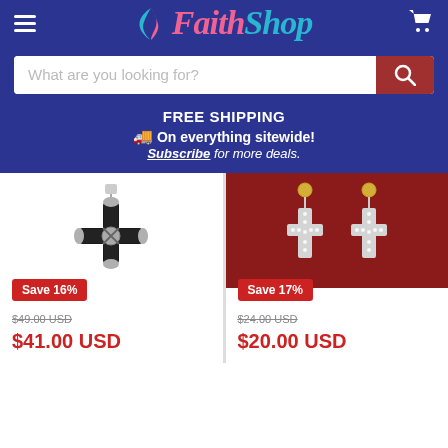[Figure (logo): FaithShop logo with wing icon, pink 'Faith' and teal 'Shop' text on dark blue background]
What are you looking for?
FREE SHIPPING
🚚 On everything sitewide!
Subscribe for more deals.
[Figure (photo): Black cross pendant necklace on white background]
[Figure (photo): Pair of crystal cross drop earrings on red velvet background]
Save 16%
$49.00 USD
$41.00 USD
Save 17%
$24.00 USD
$20.00 USD